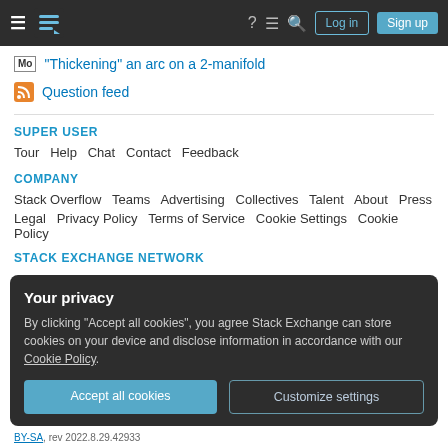Stack Exchange navigation bar with Log in and Sign up buttons
"Thickening" an arc on a 2-manifold
Question feed
SUPER USER
Tour  Help  Chat  Contact  Feedback
COMPANY
Stack Overflow  Teams  Advertising  Collectives  Talent  About  Press
Legal  Privacy Policy  Terms of Service  Cookie Settings  Cookie Policy
STACK EXCHANGE NETWORK
Your privacy
By clicking "Accept all cookies", you agree Stack Exchange can store cookies on your device and disclose information in accordance with our Cookie Policy.
BY-SA, rev 2022.8.29.42933